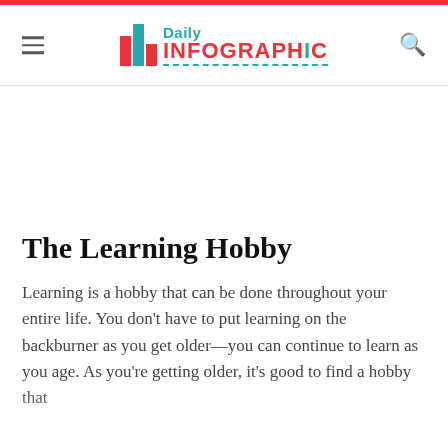Daily Infographic
The Learning Hobby
Learning is a hobby that can be done throughout your entire life. You don't have to put learning on the backburner as you get older—you can continue to learn as you age. As you're getting older, it's good to find a hobby that